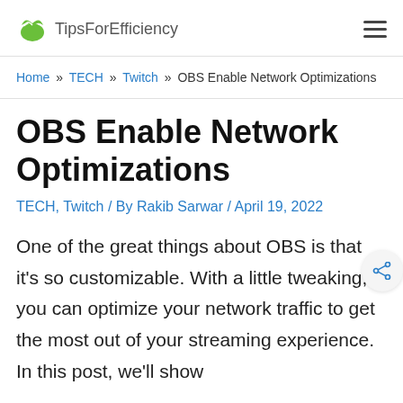TipsForEfficiency
Home » TECH » Twitch » OBS Enable Network Optimizations
OBS Enable Network Optimizations
TECH, Twitch / By Rakib Sarwar / April 19, 2022
One of the great things about OBS is that it's so customizable. With a little tweaking, you can optimize your network traffic to get the most out of your streaming experience. In this post, we'll show